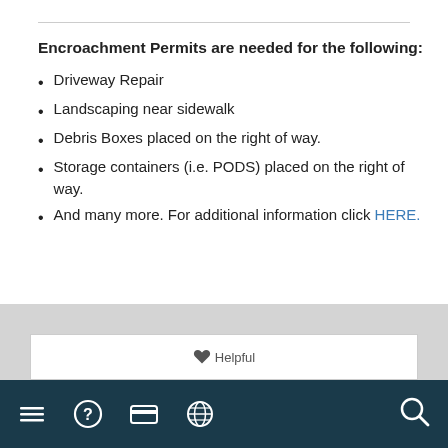Encroachment Permits are needed for the following:
Driveway Repair
Landscaping near sidewalk
Debris Boxes placed on the right of way.
Storage containers (i.e. PODS) placed on the right of way.
And many more. For additional information click HERE.
Navigation bar with menu, help, payment, language, and search icons